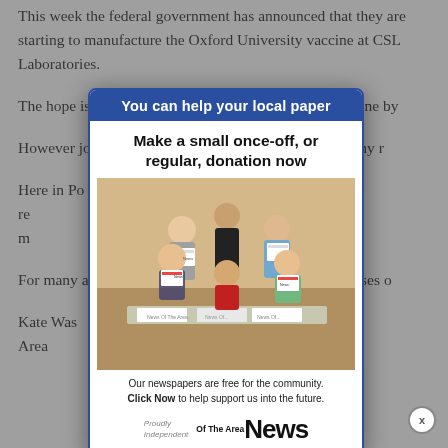This week the federal government has announced that they are starting to manufacture the Oxford University vaccine at CSL Laboratories.
The hope is ... access the vaccine by ...
However jo... and the economy r...
Here in Po... we are seeing a re... pers up creating m... hospitality and touris...
For many a... cover the expenses o...
Kate Was... d News Of The Are...
[Figure (screenshot): Modal popup advertisement for 'News Of The Area' newspaper. Blue header reads 'You can help your local paper'. Body says 'Make a small once-off, or regular, donation now'. Photo shows a group of people (adults and children) holding newspapers. Caption: 'Our newspapers are free for the community. Click Now to help support us into the future.' Logo: 'Proudly Independent | News Of The Area'. Close button (x) at bottom right.]